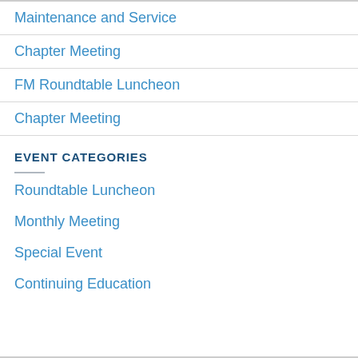Maintenance and Service
Chapter Meeting
FM Roundtable Luncheon
Chapter Meeting
EVENT CATEGORIES
Roundtable Luncheon
Monthly Meeting
Special Event
Continuing Education